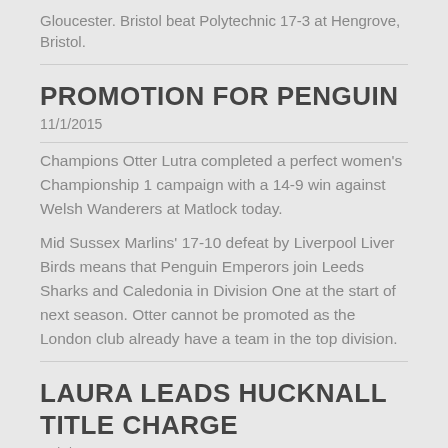Gloucester. Bristol beat Polytechnic 17-3 at Hengrove, Bristol.
PROMOTION FOR PENGUIN
11/1/2015
Champions Otter Lutra completed a perfect women's Championship 1 campaign with a 14-9 win against Welsh Wanderers at Matlock today.
Mid Sussex Marlins' 17-10 defeat by Liverpool Liver Birds means that Penguin Emperors join Leeds Sharks and Caledonia in Division One at the start of next season. Otter cannot be promoted as the London club already have a team in the top division.
LAURA LEADS HUCKNALL TITLE CHARGE
11/1/2015